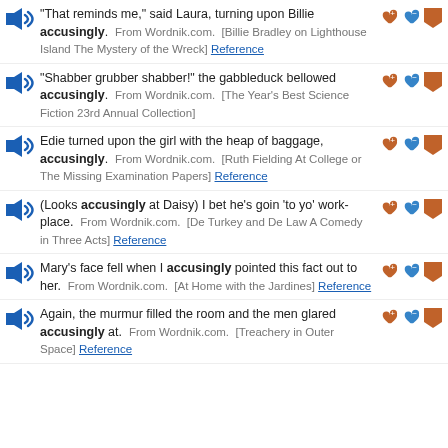"That reminds me," said Laura, turning upon Billie accusingly. From Wordnik.com. [Billie Bradley on Lighthouse Island The Mystery of the Wreck] Reference
"Shabber grubber shabber!" the gabbleduck bellowed accusingly. From Wordnik.com. [The Year's Best Science Fiction 23rd Annual Collection]
Edie turned upon the girl with the heap of baggage, accusingly. From Wordnik.com. [Ruth Fielding At College or The Missing Examination Papers] Reference
(Looks accusingly at Daisy) I bet he's goin 'to yo' work-place. From Wordnik.com. [De Turkey and De Law A Comedy in Three Acts] Reference
Mary's face fell when I accusingly pointed this fact out to her. From Wordnik.com. [At Home with the Jardines] Reference
Again, the murmur filled the room and the men glared accusingly at. From Wordnik.com. [Treachery in Outer Space] Reference